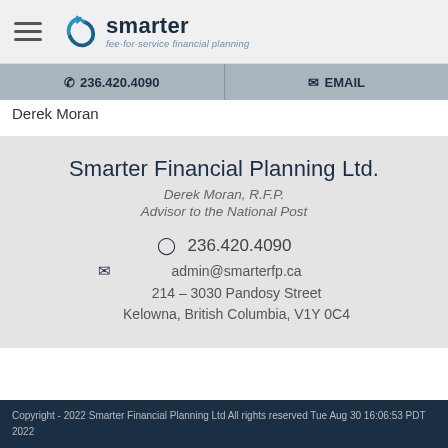[Figure (logo): Smarter fee-for-service financial planning logo with circular arrow icon]
☎ 236.420.4090   ✉ EMAIL
Derek Moran
Smarter Financial Planning Ltd.
Derek Moran, R.F.P.
Advisor to the National Post
236.420.4090
admin@smarterfp.ca
214 – 3030 Pandosy Street
Kelowna, British Columbia, V1Y 0C4
Copyright - 2022 Smarter Financial Planning Ltd All rights reserved Tue Aug 30 16:06:53 PDT
2022